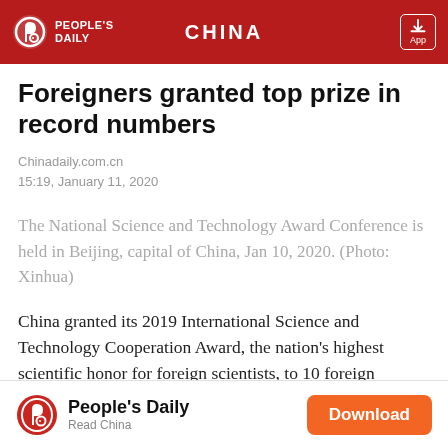CHINA — People's Daily
Foreigners granted top prize in record numbers
Chinadaily.com.cn
15:19, January 11, 2020
The National Science and Technology Award Conference is held in Beijing, capital of China, Jan 10, 2020. (Photo: Xinhua)
China granted its 2019 International Science and Technology Cooperation Award, the nation's highest scientific honor for foreign scientists, to 10 foreign
People's Daily — Read China — Download